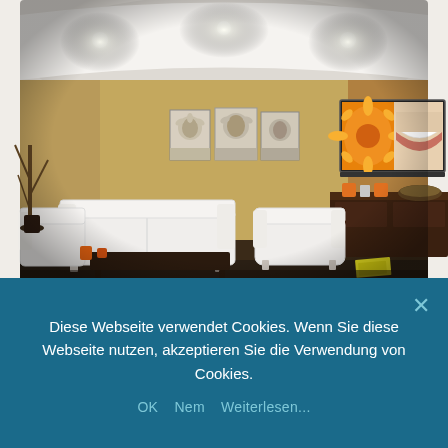[Figure (photo): Dental clinic waiting room interior with white sofas and chairs, tan/olive walls, decorative black-and-white flower paintings, a large flat-screen TV showing a smiling person and sunflower, recessed ceiling lights, dark wood shelving unit with orange containers, and a dark wood coffee table.]
Diese Webseite verwendet Cookies. Wenn Sie diese Webseite nutzen, akzeptieren Sie die Verwendung von Cookies.
OK   Nem   Weiterlesen...